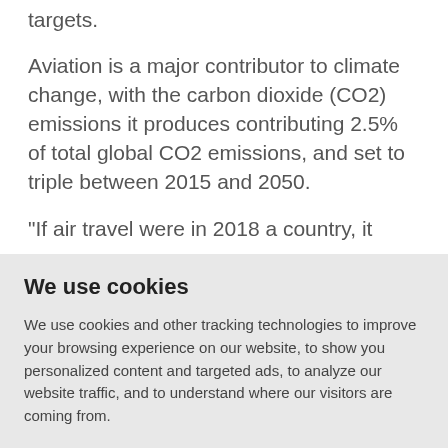targets.
Aviation is a major contributor to climate change, with the carbon dioxide (CO2) emissions it produces contributing 2.5% of total global CO2 emissions, and set to triple between 2015 and 2050.
"If air travel were in 2018 a country, it
We use cookies
We use cookies and other tracking technologies to improve your browsing experience on our website, to show you personalized content and targeted ads, to analyze our website traffic, and to understand where our visitors are coming from.